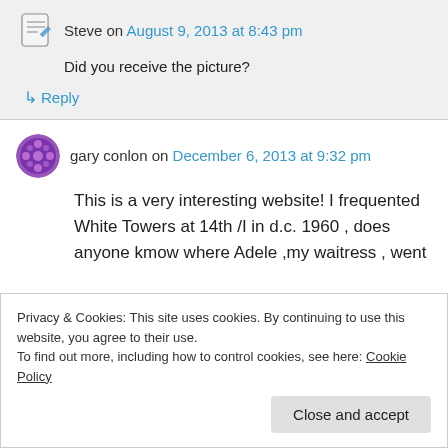Steve on August 9, 2013 at 8:43 pm
Did you receive the picture?
↳ Reply
gary conlon on December 6, 2013 at 9:32 pm
This is a very interesting website! I frequented White Towers at 14th /I in d.c. 1960 , does anyone kmow where Adele ,my waitress , went
Privacy & Cookies: This site uses cookies. By continuing to use this website, you agree to their use.
To find out more, including how to control cookies, see here: Cookie Policy
Close and accept